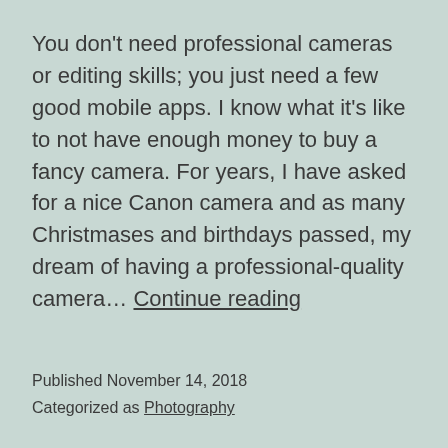You don't need professional cameras or editing skills; you just need a few good mobile apps. I know what it's like to not have enough money to buy a fancy camera. For years, I have asked for a nice Canon camera and as many Christmases and birthdays passed, my dream of having a professional-quality camera… Continue reading
Published November 14, 2018
Categorized as Photography